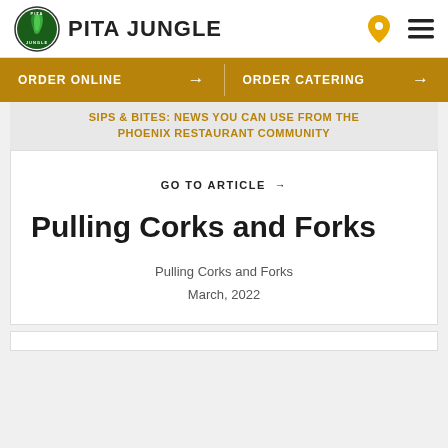PITA JUNGLE
ORDER ONLINE → ORDER CATERING →
SIPS & BITES: NEWS YOU CAN USE FROM THE PHOENIX RESTAURANT COMMUNITY
GO TO ARTICLE →
Pulling Corks and Forks
Pulling Corks and Forks
March, 2022